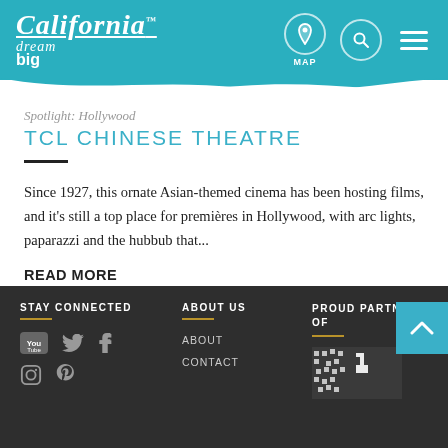California Dream Big — MAP [icon] [search icon] [menu icon]
Spotlight: Hollywood
TCL CHINESE THEATRE
Since 1927, this ornate Asian-themed cinema has been hosting films, and it's still a top place for premières in Hollywood, with arc lights, paparazzi and the hubbub that...
READ MORE
[Figure (other): Carousel pagination dots: three circles, first dark teal (active), second light blue, third lighter blue]
STAY CONNECTED | ABOUT US | PROUD PARTNER OF | YouTube, Twitter, Facebook, Instagram, Pinterest icons | ABOUT | CONTACT | Pixelated logo image | Back to top button